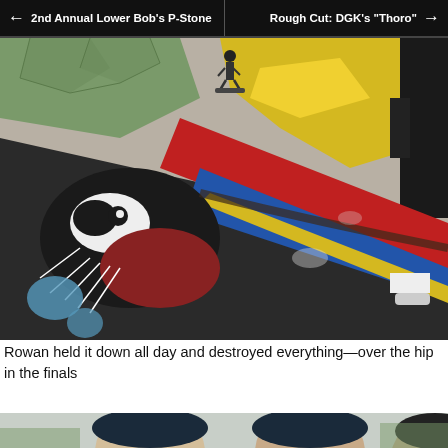← 2nd Annual Lower Bob's P-Stone | Rough Cut: DGK's "Thoro" →
[Figure (photo): Aerial/overhead view of a colorful painted skatepark bowl with murals including a large bird/eagle design in black, red, yellow, and blue on concrete. A skateboarder is visible at the top of the bowl. Another person stands at the right edge.]
Rowan held it down all day and destroyed everything—over the hip in the finals
[Figure (photo): Two men wearing dark beanies stand side by side outdoors, partially cropped at the bottom of the page.]